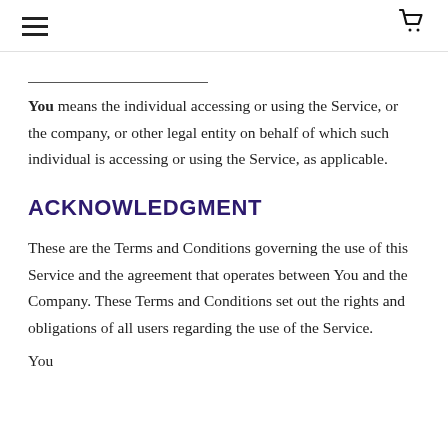[navigation header with hamburger menu and cart icon]
You means the individual accessing or using the Service, or the company, or other legal entity on behalf of which such individual is accessing or using the Service, as applicable.
ACKNOWLEDGMENT
These are the Terms and Conditions governing the use of this Service and the agreement that operates between You and the Company. These Terms and Conditions set out the rights and obligations of all users regarding the use of the Service.
You...